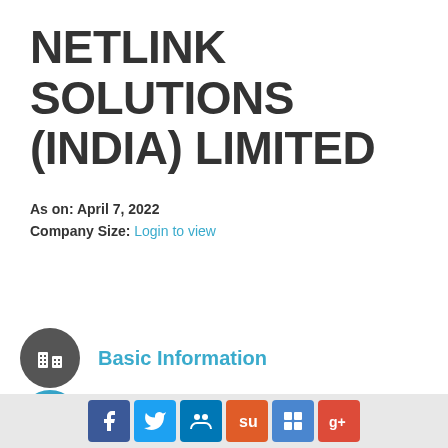NETLINK SOLUTIONS (INDIA) LIMITED
As on: April 7, 2022
Company Size: Login to view
[Figure (other): Blue 'Track this company' button]
Basic Information
Documents
Trademarks
Social media share icons: Facebook, Twitter, LinkedIn, StumbleUpon, Delicious, Google+